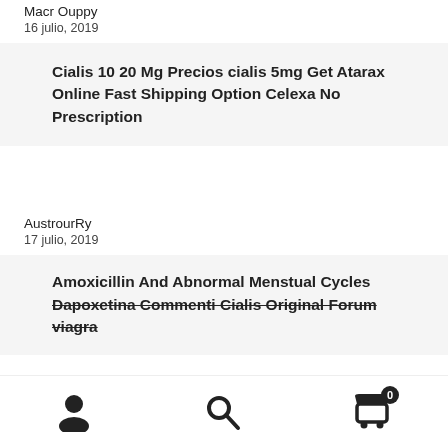Macr Ouppy
16 julio, 2019
Cialis 10 20 Mg Precios cialis 5mg Get Atarax Online Fast Shipping Option Celexa No Prescription
AustrourRy
17 julio, 2019
Amoxicillin And Abnormal Menstual Cycles Dapoxetina Commenti Cialis Original Forum viagra
user icon | search icon | cart 0